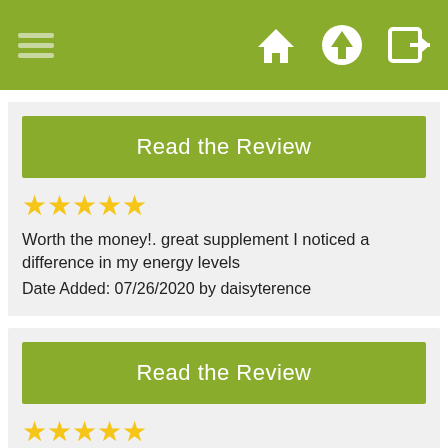[Menu icon] [Home icon] [Upload icon] [Login icon]
Read the Review
★★★★★
Worth the money!. great supplement I noticed a difference in my energy levels
Date Added: 07/26/2020 by daisyterence
Read the Review
★★★★★
well-made and sheap!